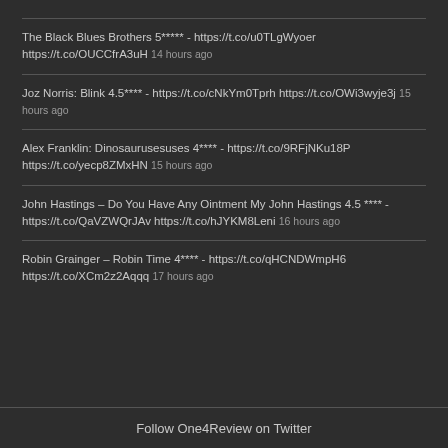The Black Blues Brothers 5***** - https://t.co/u0TLgWyoer https://t.co/OUCCfrA3uH 14 hours ago
Joz Norris: Blink 4.5**** - https://t.co/cNkYm0Tprh https://t.co/OWi3wyje3j 15 hours ago
Alex Franklin: Dinosaurusesuses 4**** - https://t.co/9RFjNKu18P https://t.co/yecp8ZMxHN 15 hours ago
John Hastings – Do You Have Any Ointment My John Hastings 4.5 **** - https://t.co/QaVZWQrJAv https://t.co/hJYKM8Leni 16 hours ago
Robin Grainger – Robin Time 4**** - https://t.co/qHCNDWmpH6 https://t.co/XCm2z2Aqqq 17 hours ago
Follow One4Review on Twitter